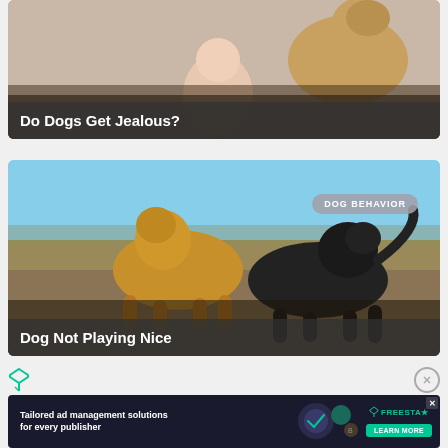[Figure (photo): Card with photo of a baby and a dog sitting together, with title overlay 'Do Dogs Get Jealous?']
Do Dogs Get Jealous?
[Figure (photo): Card with photo of two dogs playing/interacting outdoors, with 'DOG BEHAVIOR' badge and title overlay 'Dog Not Playing Nice']
Dog Not Playing Nice
[Figure (infographic): Advertisement banner: 'Tailored ad management solutions for every publisher' with Freestar logo and LEARN MORE button]